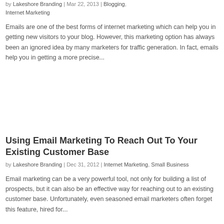by Lakeshore Branding | Mar 22, 2013 | Blogging, Internet Marketing
Emails are one of the best forms of internet marketing which can help you in getting new visitors to your blog. However, this marketing option has always been an ignored idea by many marketers for traffic generation. In fact, emails help you in getting a more precise...
Using Email Marketing To Reach Out To Your Existing Customer Base
by Lakeshore Branding | Dec 31, 2012 | Internet Marketing, Small Business
Email marketing can be a very powerful tool, not only for building a list of prospects, but it can also be an effective way for reaching out to an existing customer base. Unfortunately, even seasoned email marketers often forget this feature, hired for...